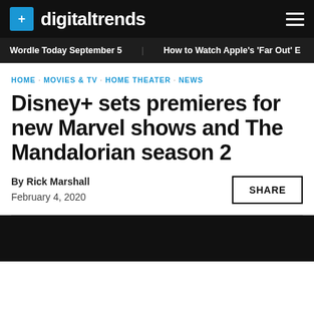digitaltrends
Wordle Today September 5  How to Watch Apple's 'Far Out' E
HOME · MOVIES & TV · HOME THEATER · NEWS
Disney+ sets premieres for new Marvel shows and The Mandalorian season 2
By Rick Marshall
February 4, 2020
[Figure (photo): Black image placeholder at bottom of article header]